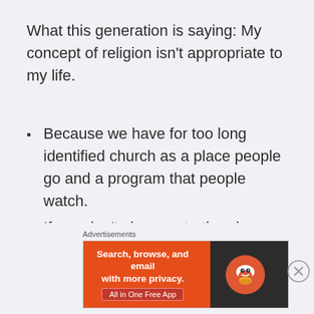What this generation is saying: My concept of religion isn't appropriate to my life.
Because we have for too long identified church as a place people go and a program that people watch.
If you don't show up to the place and watch the program, it becomes disconnected from your life.
We are less concerned about serving people
[Figure (screenshot): DuckDuckGo advertisement banner: orange left side with text 'Search, browse, and email with more privacy. All in One Free App' and dark right side with DuckDuckGo duck logo. Labeled 'Advertisements' above.]